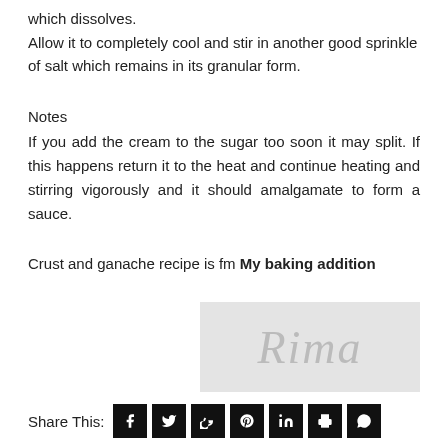which dissolves.
Allow it to completely cool and stir in another good sprinkle of salt which remains in its granular form.
Notes
If you add the cream to the sugar too soon it may split. If this happens return it to the heat and continue heating and stirring vigorously and it should amalgamate to form a sauce.
Crust and ganache recipe is fm My baking addition
[Figure (illustration): A signature image showing 'Rima' in cursive script on a light grey background]
Share This: